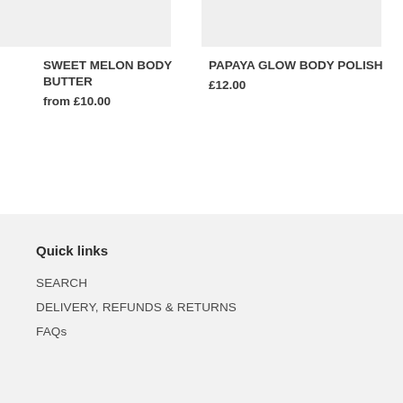SWEET MELON BODY BUTTER
from £10.00
PAPAYA GLOW BODY POLISH
£12.00
Quick links
SEARCH
DELIVERY, REFUNDS & RETURNS
FAQs